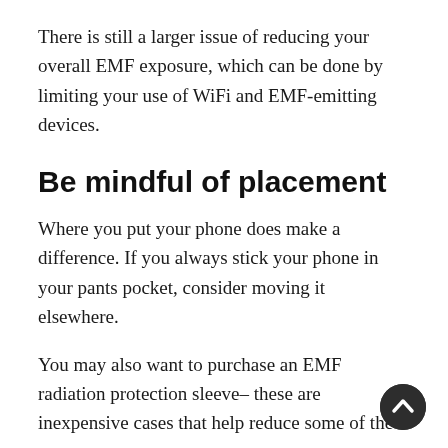There is still a larger issue of reducing your overall EMF exposure, which can be done by limiting your use of WiFi and EMF-emitting devices.
Be mindful of placement
Where you put your phone does make a difference. If you always stick your phone in your pants pocket, consider moving it elsewhere.
You may also want to purchase an EMF radiation protection sleeve– these are inexpensive cases that help reduce some of the